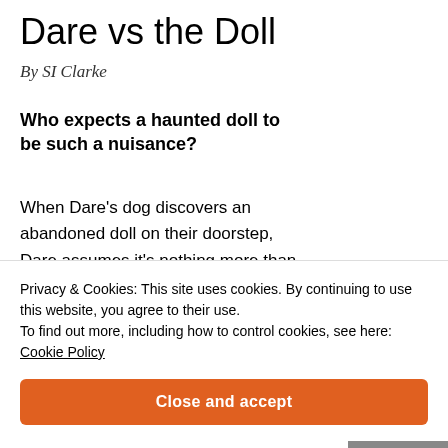Dare vs the Doll
By SI Clarke
Who expects a haunted doll to be such a nuisance?
When Dare's dog discovers an abandoned doll on their doorstep, Dare assumes it's nothing more than a lost toy…
Privacy & Cookies: This site uses cookies. By continuing to use this website, you agree to their use.
To find out more, including how to control cookies, see here:
Cookie Policy
Close and accept